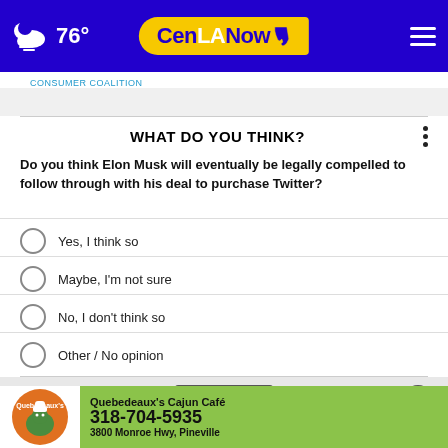76° CenLANow
Consumer Coalition
WHAT DO YOU THINK?
Do you think Elon Musk will eventually be legally compelled to follow through with his deal to purchase Twitter?
Yes, I think so
Maybe, I'm not sure
No, I don't think so
Other / No opinion
NEXT →
* By voting, you agree that CivicScience may share your responses... agreed and agree to the CivicScience Privacy Policy and Terms of Service
[Figure (photo): Quebedeaux's Cajun Café advertisement banner with logo, phone number 318-704-5935, and address 3800 Monroe Hwy, Pineville]